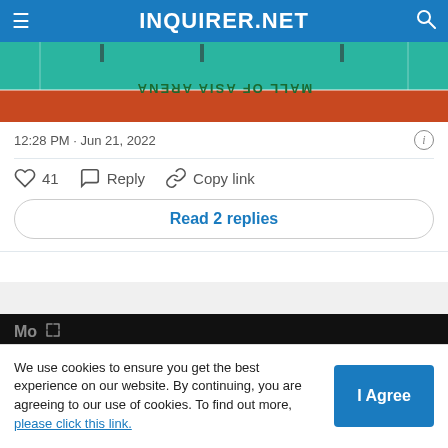INQUIRER.NET
[Figure (photo): Upside-down photo of Mall of Asia Arena volleyball court with green floor and orange area visible]
12:28 PM · Jun 21, 2022
41   Reply   Copy link
Read 2 replies
[Figure (screenshot): Video player showing error message: The media could not be loaded, either because the server or network failed or because the format is not supported. Partially visible text 'Mo...' and view count '82...' with a play button icon on the right.]
We use cookies to ensure you get the best experience on our website. By continuing, you are agreeing to our use of cookies. To find out more, please click this link.